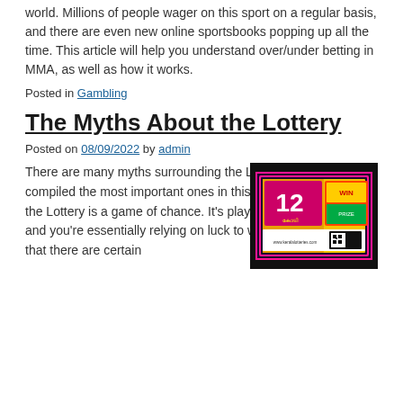world. Millions of people wager on this sport on a regular basis, and there are even new online sportsbooks popping up all the time. This article will help you understand over/under betting in MMA, as well as how it works.
Posted in Gambling
The Myths About the Lottery
Posted on 08/09/2022 by admin
[Figure (photo): Lottery ticket image with colorful design showing number 12 and Malayalam text, on a black background]
There are many myths surrounding the Lottery, but we've compiled the most important ones in this article. In a nutshell, the Lottery is a game of chance. It's played on a video screen, and you're essentially relying on luck to win. But did you know that there are certain